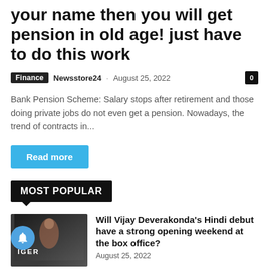your name then you will get pension in old age! just have to do this work
Finance · Newsstore24 · August 25, 2022 · 0
Bank Pension Scheme: Salary stops after retirement and those doing private jobs do not even get a pension. Nowadays, the trend of contracts in...
Read more
MOST POPULAR
Will Vijay Deverakonda's Hindi debut have a strong opening weekend at the box office?
August 25, 2022
Noida Twin Tower Demolition: People of those six societies do not go on the roofs